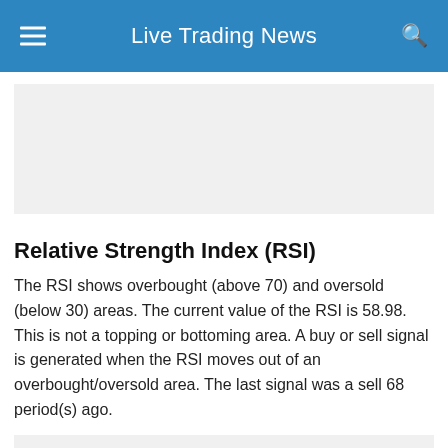Live Trading News
[Figure (other): Top advertisement banner placeholder with light gray background]
Relative Strength Index (RSI)
The RSI shows overbought (above 70) and oversold (below 30) areas. The current value of the RSI is 58.98. This is not a topping or bottoming area. A buy or sell signal is generated when the RSI moves out of an overbought/oversold area. The last signal was a sell 68 period(s) ago.
[Figure (other): Bottom advertisement banner placeholder with light gray background]